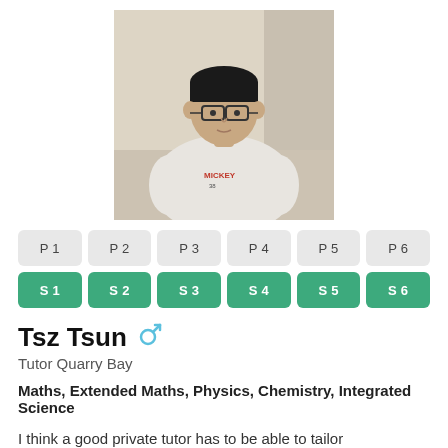[Figure (photo): Portrait photo of a young Asian male wearing glasses and a white Mickey Mouse t-shirt, standing against a white wall]
P1  P2  P3  P4  P5  P6
S1  S2  S3  S4  S5  S6
Tsz Tsun ♂
Tutor Quarry Bay
Maths, Extended Maths, Physics, Chemistry, Integrated Science
I think a good private tutor has to be able to tailor